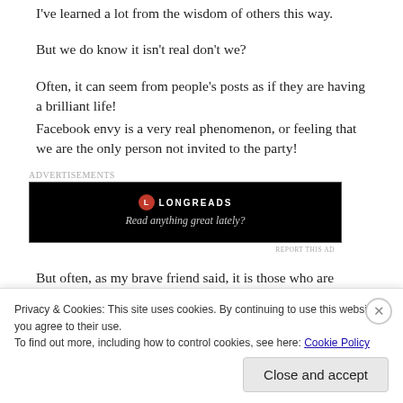I've learned a lot from the wisdom of others this way.
But we do know it isn't real don't we?
Often, it can seem from people's posts as if they are having a brilliant life!
Facebook envy is a very real phenomenon, or feeling that we are the only person not invited to the party!
[Figure (other): Longreads advertisement banner with black background, Longreads logo, and tagline 'Read anything great lately?']
But often, as my brave friend said, it is those who are hurting the most who post positive things, just trying to keep a smile...
Privacy & Cookies: This site uses cookies. By continuing to use this website, you agree to their use.
To find out more, including how to control cookies, see here: Cookie Policy